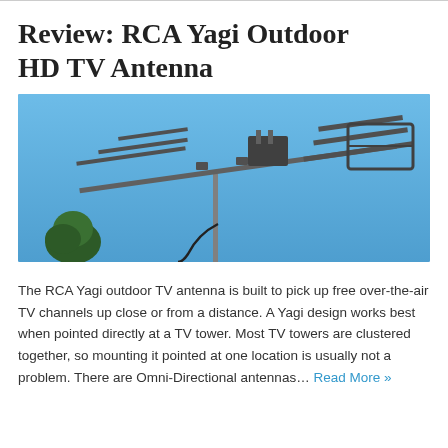Review: RCA Yagi Outdoor HD TV Antenna
[Figure (photo): Photograph of an RCA Yagi outdoor HD TV antenna mounted on a pole against a clear blue sky, with a tree visible in the lower left background.]
The RCA Yagi outdoor TV antenna is built to pick up free over-the-air TV channels up close or from a distance. A Yagi design works best when pointed directly at a TV tower. Most TV towers are clustered together, so mounting it pointed at one location is usually not a problem. There are Omni-Directional antennas… Read More »